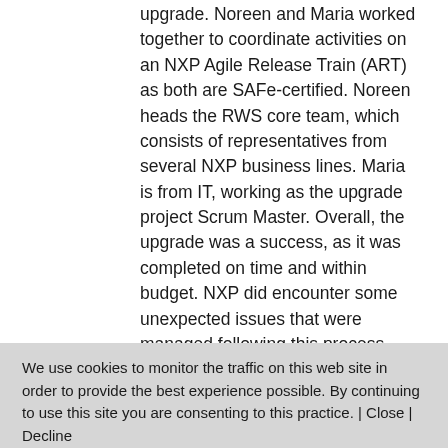upgrade. Noreen and Maria worked together to coordinate activities on an NXP Agile Release Train (ART) as both are SAFe-certified. Noreen heads the RWS core team, which consists of representatives from several NXP business lines. Maria is from IT, working as the upgrade project Scrum Master. Overall, the upgrade was a success, as it was completed on time and within budget. NXP did encounter some unexpected issues that were managed following this process. During this webinar, Noreen and Maria will discuss how the business and IT benefited by utilizing SAFe methodologies to document CCMS
We use cookies to monitor the traffic on this web site in order to provide the best experience possible. By continuing to use this site you are consenting to this practice. | Close | Decline